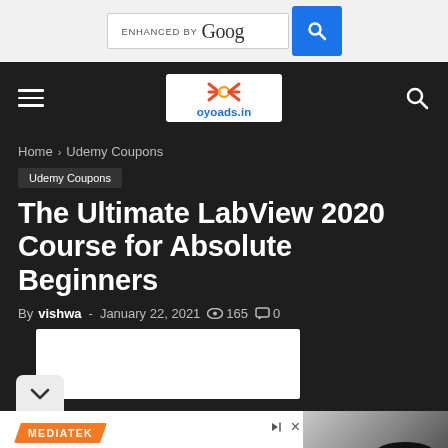[Figure (screenshot): Search bar with 'ENHANCED BY Goog' text and blue search button]
[Figure (logo): oyoads.in logo with hamburger menu and search icon on dark navigation bar]
Home › Udemy Coupons
Udemy Coupons
The Ultimate LabView 2020 Course for Absolute Beginners
By vishwa - January 22, 2021 © 165 ⬜ 0
[Figure (screenshot): White image placeholder area for article thumbnail]
[Figure (photo): MediaTek advertisement showing 'Uninterrupted Connectivity.' tagline and smart speaker]